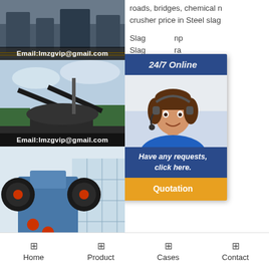[Figure (photo): Industrial machinery/crusher equipment in a factory setting with dark tones]
Email:lmzgvip@gmail.com
[Figure (photo): Large industrial crushing/mining plant equipment outdoors against sky]
Email:lmzgvip@gmail.com
[Figure (photo): Jaw crusher machine in a bright industrial facility]
roads, bridges, chemical ... crusher price in Steel slag...
Slag ... Slag ... mon ... indus ... mini ... chem ... Slag ...
[Figure (infographic): 24/7 Online chat support popup with female agent photo, 'Have any requests, click here.' message, and Quotation button]
slag ... Slag slag quarry plant sup... more,building materials, n... the needs of c,slag crushe... plant manufacturers in au... professional mining equip...
Home  Product  Cases  Contact